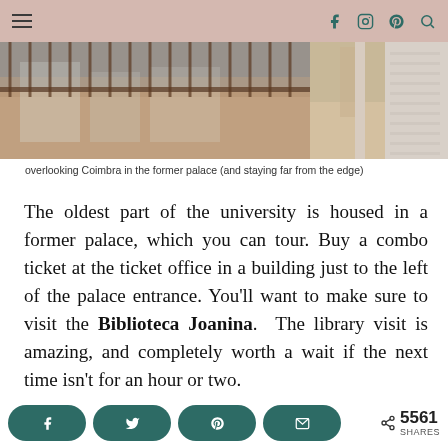Navigation and social icons header bar
[Figure (photo): Photo of a university palace balcony overlooking Coimbra rooftops, with iron railings visible and a person standing near a column. Split into left rooftop view, center balcony walkway, and right textured wall.]
overlooking Coimbra in the former palace (and staying far from the edge)
The oldest part of the university is housed in a former palace, which you can tour. Buy a combo ticket at the ticket office in a building just to the left of the palace entrance. You'll want to make sure to visit the Biblioteca Joanina.  The library visit is amazing, and completely worth a wait if the next time isn't for an hour or two.
Share buttons: Facebook, Twitter, Pinterest, Email. 5561 SHARES